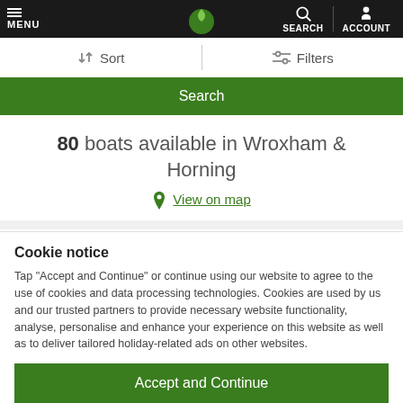MENU | SEARCH | ACCOUNT
Sort   Filters
Search
80 boats available in Wroxham & Horning
View on map
Streamway   New in
Cookie notice
Tap "Accept and Continue" or continue using our website to agree to the use of cookies and data processing technologies. Cookies are used by us and our trusted partners to provide necessary website functionality, analyse, personalise and enhance your experience on this website as well as to deliver tailored holiday-related ads on other websites.
Accept and Continue